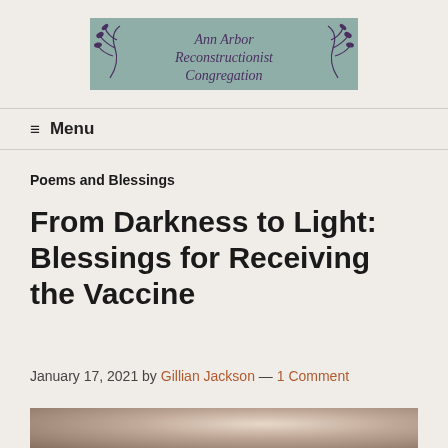[Figure (logo): Ann Arbor Reconstructionist Congregation logo with decorative branch border on teal background]
Menu
Poems and Blessings
From Darkness to Light: Blessings for Receiving the Vaccine
January 17, 2021 by Gillian Jackson — 1 Comment
[Figure (photo): Partial photo visible at bottom of page]